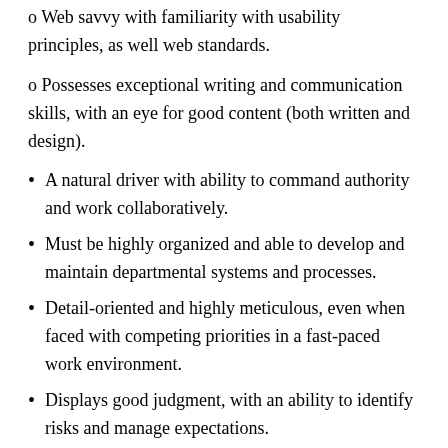o Web savvy with familiarity with usability principles, as well web standards.
o Possesses exceptional writing and communication skills, with an eye for good content (both written and design).
A natural driver with ability to command authority and work collaboratively.
Must be highly organized and able to develop and maintain departmental systems and processes.
Detail-oriented and highly meticulous, even when faced with competing priorities in a fast-paced work environment.
Displays good judgment, with an ability to identify risks and manage expectations.